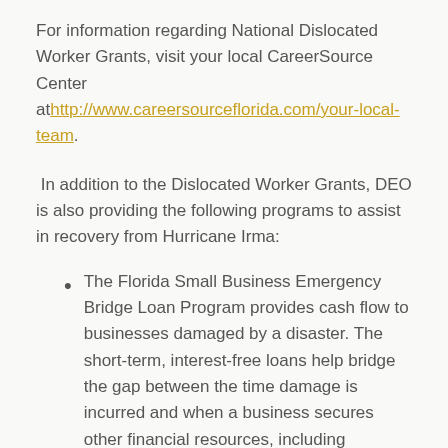For information regarding National Dislocated Worker Grants, visit your local CareerSource Center at http://www.careersourceflorida.com/your-local-team.
In addition to the Dislocated Worker Grants, DEO is also providing the following programs to assist in recovery from Hurricane Irma:
The Florida Small Business Emergency Bridge Loan Program provides cash flow to businesses damaged by a disaster. The short-term, interest-free loans help bridge the gap between the time damage is incurred and when a business secures other financial resources, including